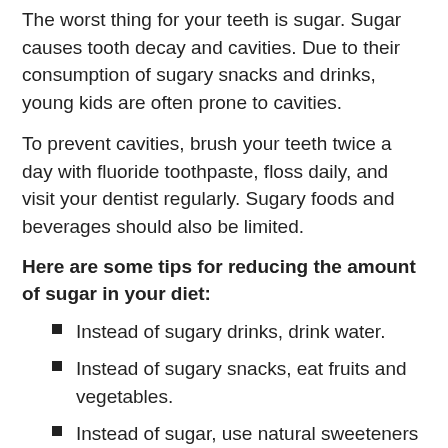The worst thing for your teeth is sugar. Sugar causes tooth decay and cavities. Due to their consumption of sugary snacks and drinks, young kids are often prone to cavities.
To prevent cavities, brush your teeth twice a day with fluoride toothpaste, floss daily, and visit your dentist regularly. Sugary foods and beverages should also be limited.
Here are some tips for reducing the amount of sugar in your diet:
Instead of sugary drinks, drink water.
Instead of sugary snacks, eat fruits and vegetables.
Instead of sugar, use natural sweeteners like honey or stevia.
Limit your consumption of processed foods.
Instead of refined carbohydrates, choose whole-grain